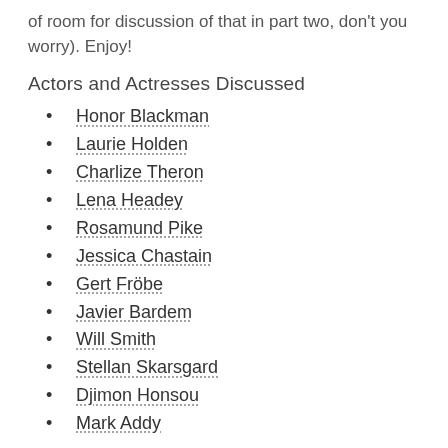of room for discussion of that in part two, don't you worry). Enjoy!
Actors and Actresses Discussed
Honor Blackman
Laurie Holden
Charlize Theron
Lena Headey
Rosamund Pike
Jessica Chastain
Gert Fröbe
Javier Bardem
Will Smith
Stellan Skarsgard
Djimon Honsou
Mark Addy